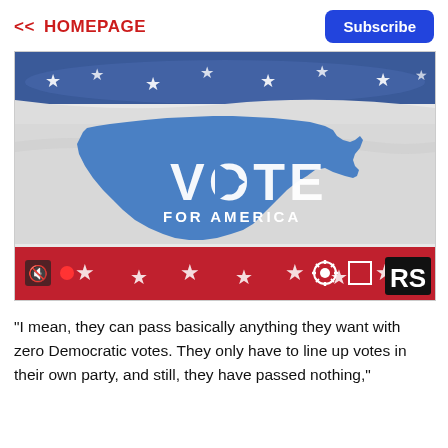<< HOMEPAGE
Subscribe
[Figure (photo): Video thumbnail showing an American flag waving with a 'VOTE FOR AMERICA' graphic overlaid showing the shape of the United States in blue. Bottom bar shows media controls including mute icon, record button, stars, settings gear, fullscreen icon, and RS logo.]
"I mean, they can pass basically anything they want with zero Democratic votes. They only have to line up votes in their own party, and still, they have passed nothing,"